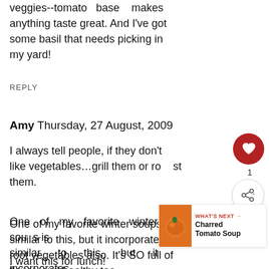veggies--tomato base makes anything taste great. And I've got some basil that needs picking in my yard!
REPLY
Amy Thursday, 27 August, 2009
I always tell people, if they don't like vegetables…grill them or roast them.
One of my favorite winter soups is similar to this, but it incorporates root vegetables also. It's SO full of flavor, and healthy too.
I want this for lunch!